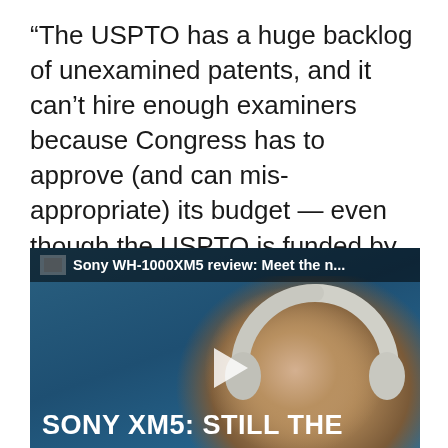“The USPTO has a huge backlog of unexamined patents, and it can’t hire enough examiners because Congress has to approve (and can mis-appropriate) its budget — even though the USPTO is funded by application fees and not by taxpayer dollars,” Mims writes.
[Figure (screenshot): Video thumbnail for 'Sony WH-1000XM5 review: Meet the n...' showing a man wearing Sony XM5 headphones against a blue background with text 'SONY XM5: STILL THE' and a play button overlay.]